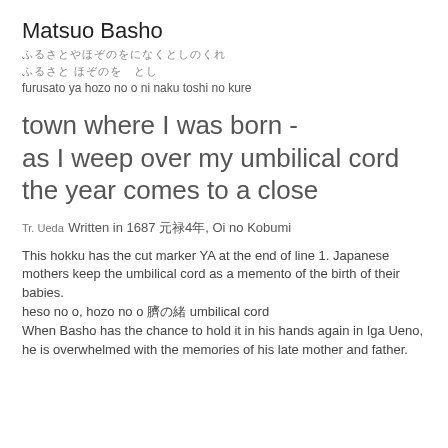Matsuo Basho
ふるさとやほぞのをになくとしのくれ
ふるさと ほぞのを　とし
furusato ya hozo no o ni naku toshi no kure
town where I was born -
as I weep over my umbilical cord
the year comes to a close
Tr. Ueda
Written in 1687 元禄4年, Oi no Kobumi
This hokku has the cut marker YA at the end of line 1. Japanese mothers keep the umbilical cord as a memento of the birth of their babies.
heso no o, hozo no o 臍の緒 umbilical cord
When Basho has the chance to hold it in his hands again in Iga Ueno, he is overwhelmed with the memories of his late mother and father.